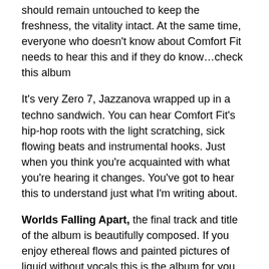should remain untouched to keep the freshness, the vitality intact. At the same time, everyone who doesn't know about Comfort Fit needs to hear this and if they do know…check this album
It's very Zero 7, Jazzanova wrapped up in a techno sandwich. You can hear Comfort Fit's hip-hop roots with the light scratching, sick flowing beats and instrumental hooks. Just when you think you're acquainted with what you're hearing it changes. You've got to hear this to understand just what I'm writing about.
Worlds Falling Apart, the final track and title of the album is beautifully composed. If you enjoy ethereal flows and painted pictures of liquid without vocals this is the album for you. Another favourite of mine: Adolar Aluminum plays like a binaural beat for the renewed soul. The short